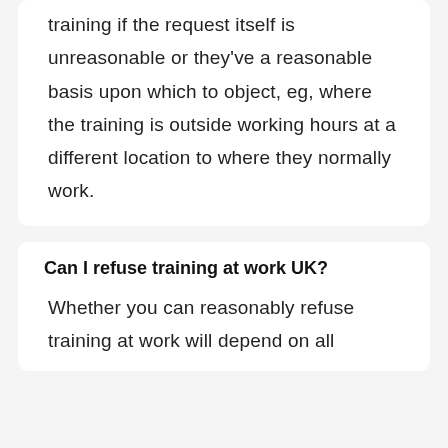training if the request itself is unreasonable or they've a reasonable basis upon which to object, eg, where the training is outside working hours at a different location to where they normally work.
Can I refuse training at work UK?
Whether you can reasonably refuse training at work will depend on all